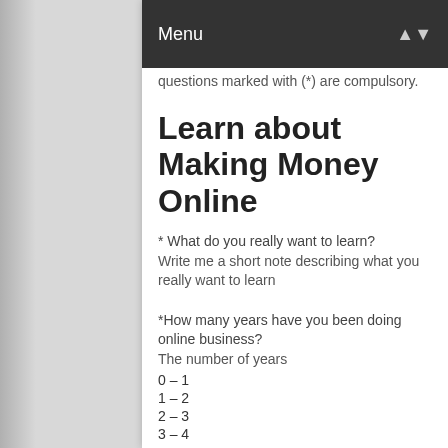Menu
questions marked with (*) are compulsory.
Learn about Making Money Online
* What do you really want to learn?
Write me a short note describing what you really want to learn
*How many years have you been doing online business?
The number of years
0 – 1
1 – 2
2 – 3
3 – 4